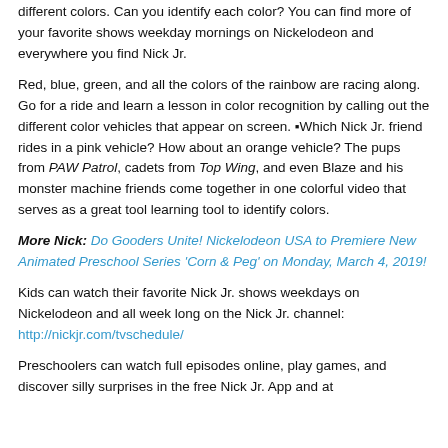different colors. Can you identify each color? You can find more of your favorite shows weekday mornings on Nickelodeon and everywhere you find Nick Jr.
Red, blue, green, and all the colors of the rainbow are racing along. Go for a ride and learn a lesson in color recognition by calling out the different color vehicles that appear on screen. ■Which Nick Jr. friend rides in a pink vehicle? How about an orange vehicle? The pups from PAW Patrol, cadets from Top Wing, and even Blaze and his monster machine friends come together in one colorful video that serves as a great tool learning tool to identify colors.
More Nick: Do Gooders Unite! Nickelodeon USA to Premiere New Animated Preschool Series 'Corn & Peg' on Monday, March 4, 2019!
Kids can watch their favorite Nick Jr. shows weekdays on Nickelodeon and all week long on the Nick Jr. channel: http://nickjr.com/tvschedule/
Preschoolers can watch full episodes online, play games, and discover silly surprises in the free Nick Jr. App and at